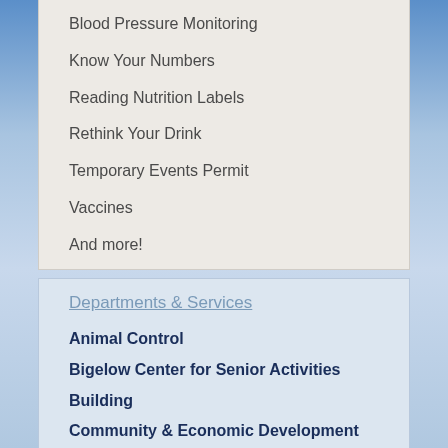Blood Pressure Monitoring
Know Your Numbers
Reading Nutrition Labels
Rethink Your Drink
Temporary Events Permit
Vaccines
And more!
Departments & Services
Animal Control
Bigelow Center for Senior Activities
Building
Community & Economic Development
Conservation
Education
Engineering